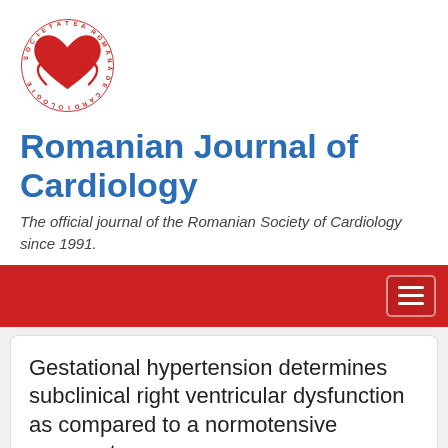[Figure (logo): Romanian Society of Cardiology logo — circular text reading SOCIETATEA ROMÂNĂ DE CARDIOLOGIE around a heart held by two hands, in red]
Romanian Journal of Cardiology
The official journal of the Romanian Society of Cardiology since 1991.
Gestational hypertension determines subclinical right ventricular dysfunction as compared to a normotensive pregnant